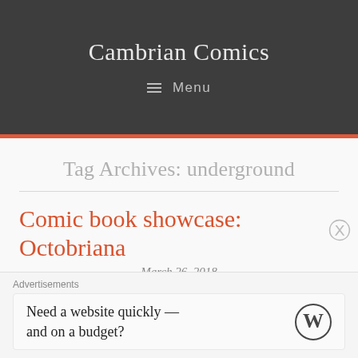Cambrian Comics
≡ Menu
Tag Archives: underground
Comic book showcase: Octobriana
March 26, 2018
So I went to go see a movie called The Death of Stalin over the
Advertisements
Need a website quickly — and on a budget?